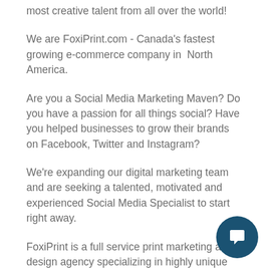most creative talent from all over the world!
We are FoxiPrint.com - Canada's fastest growing e-commerce company in North America.
Are you a Social Media Marketing Maven? Do you have a passion for all things social? Have you helped businesses to grow their brands on Facebook, Twitter and Instagram?
We're expanding our digital marketing team and are seeking a talented, motivated and experienced Social Media Specialist to start right away.
FoxiPrint is a full service print marketing and design agency specializing in highly unique print marketing and advertising materials.
Every day, our passionate employees connect our customers to the world through highly targeted print and